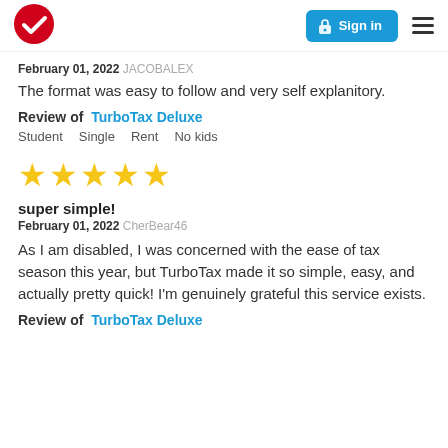TurboTax logo | Sign in | Menu
February 01, 2022 JACOBALEX
The format was easy to follow and very self explanitory.
Review of TurboTax Deluxe
Student Single Rent No kids
[Figure (other): 5 yellow star rating]
super simple!
February 01, 2022 CherBear46
As I am disabled, I was concerned with the ease of tax season this year, but TurboTax made it so simple, easy, and actually pretty quick! I'm genuinely grateful this service exists.
Review of TurboTax Deluxe